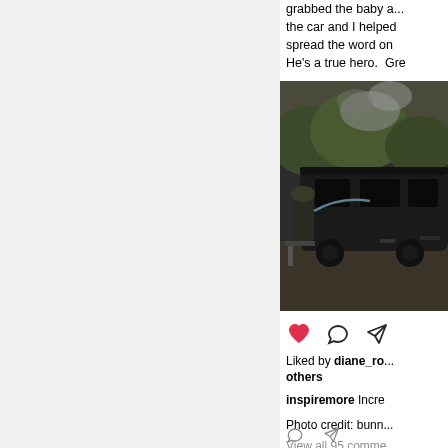grabbed the baby a... the car and I helped spread the word on He's a true hero.  Gre
[Figure (photo): Burned out vehicle with firefighter spraying water, smoke in background, outdoor scene]
[Figure (infographic): Instagram action icons: red heart (liked), comment bubble, share arrow]
Liked by diane_ro... others
inspiremore Incre
Photo credit: bunn
View all 95 comme
michelleobre God they do something